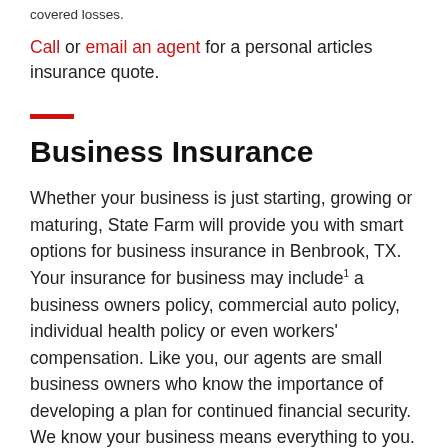covered losses.
Call or email an agent for a personal articles insurance quote.
Business Insurance
Whether your business is just starting, growing or maturing, State Farm will provide you with smart options for business insurance in Benbrook, TX. Your insurance for business may include1 a business owners policy, commercial auto policy, individual health policy or even workers' compensation. Like you, our agents are small business owners who know the importance of developing a plan for continued financial security. We know your business means everything to you. As it grows, make sure you have the right business insurance